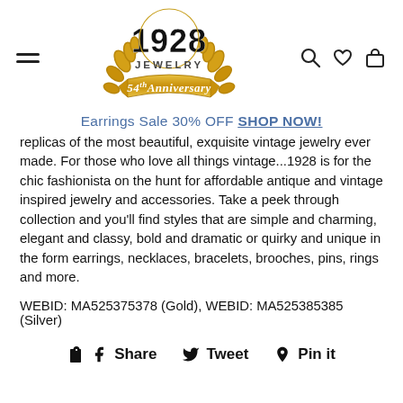1928 Jewelry 54th Anniversary
Earrings Sale 30% OFF SHOP NOW!
replicas of the most beautiful, exquisite vintage jewelry ever made. For those who love all things vintage...1928 is for the chic fashionista on the hunt for affordable antique and vintage inspired jewelry and accessories. Take a peek through collection and you'll find styles that are simple and charming, elegant and classy, bold and dramatic or quirky and unique in the form earrings, necklaces, bracelets, brooches, pins, rings and more.
WEBID: MA525375378 (Gold), WEBID: MA525385385 (Silver)
Share   Tweet   Pin it